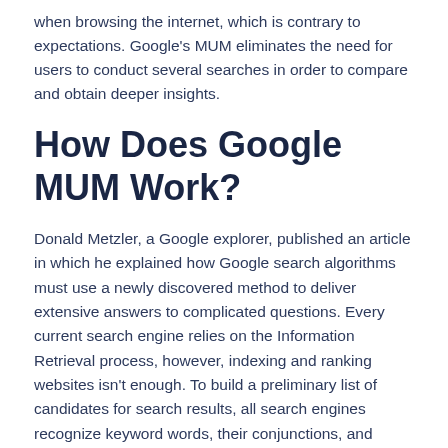when browsing the internet, which is contrary to expectations. Google's MUM eliminates the need for users to conduct several searches in order to compare and obtain deeper insights.
How Does Google MUM Work?
Donald Metzler, a Google explorer, published an article in which he explained how Google search algorithms must use a newly discovered method to deliver extensive answers to complicated questions. Every current search engine relies on the Information Retrieval process, however, indexing and ranking websites isn't enough. To build a preliminary list of candidates for search results, all search engines recognize keyword words, their conjunctions, and semantics. Then it goes through one or more re-ranking patterns, most likely neural network-based learning-to-rank patterns.